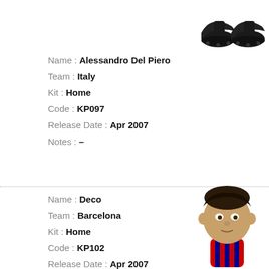[Figure (photo): Pair of black football boots/shoes figurine, top right of first card]
Name : Alessandro Del Piero
Team : Italy
Kit : Home
Code : KP097
Release Date : Apr 2007
Notes : –
[Figure (photo): Bobblehead figurine of Deco in Barcelona home kit (red and blue stripes), bottom right of second card]
Name : Deco
Team : Barcelona
Kit : Home
Code : KP102
Release Date : Apr 2007